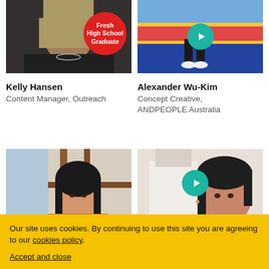[Figure (photo): Photo of Kelly Hansen, a woman with blonde hair and dark top, with a red circular badge reading 'Fresh High School Graduate']
Kelly Hansen
Content Manager, Outreach
[Figure (photo): Photo of Alexander Wu-Kim, colorful background with stairs, with a teal play button overlay]
Alexander Wu-Kim
Concept Creative, ANDPEOPLE Australia
[Figure (photo): Photo of a young woman with dark hair, artwork visible in background]
[Figure (photo): Photo of a woman with dark hair pulled back, with a teal play button overlay]
Our site uses cookies. By continuing to use this site you are agreeing to our cookies policy.
Accept and close